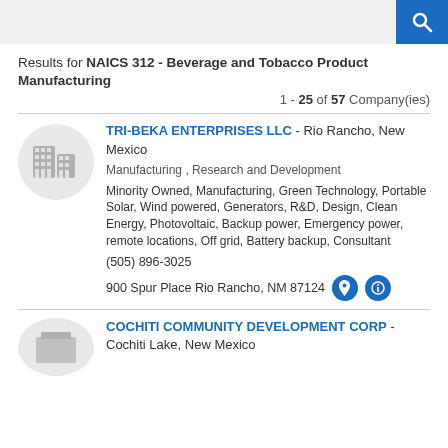Search
Results for NAICS 312 - Beverage and Tobacco Product Manufacturing
1 - 25 of 57 Company(ies)
TRI-BEKA ENTERPRISES LLC - Rio Rancho, New Mexico
Manufacturing , Research and Development
Minority Owned, Manufacturing, Green Technology, Portable Solar, Wind powered, Generators, R&D, Design, Clean Energy, Photovoltaic, Backup power, Emergency power, remote locations, Off grid, Battery backup, Consultant
(505) 896-3025
900 Spur Place Rio Rancho, NM 87124
COCHITI COMMUNITY DEVELOPMENT CORP - Cochiti Lake, New Mexico